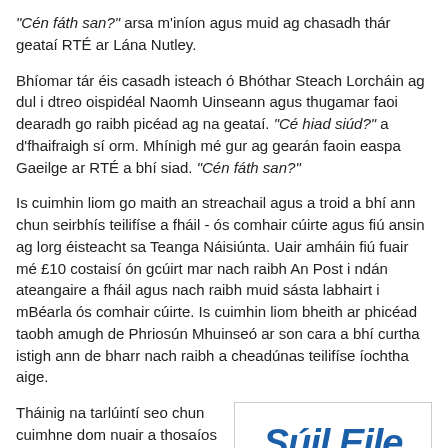"Cén fáth san?" arsa m'iníon agus muid ag chasadh thár geataí RTÉ ar Lána Nutley.
Bhíomar tár éis casadh isteach ó Bhóthar Steach Lorcháin ag dul i dtreo oispidéal Naomh Uinseann agus thugamar faoi dearadh go raibh picéad ag na geataí. "Cé hiad siúd?" a d'fhaifraigh sí orm. Mhínigh mé gur ag gearán faoin easpa Gaeilge ar RTÉ a bhí siad. "Cén fáth san?"
Is cuimhin liom go maith an streachail agus a troid a bhí ann chun seirbhís teilifíse a fháil - ós comhair cúirte agus fiú ansin ag lorg éisteacht sa Teanga Náisiúnta. Uair amháin fiú fuair mé £10 costaisí ón gcúirt mar nach raibh An Post i ndán ateangaire a fháil agus nach raibh muid sásta labhairt i mBéarla ós comhair cúirte. Is cuimhin liom bheith ar phicéad taobh amugh de Phriosún Mhuinseó ar son cara a bhí curtha istigh ann de bharr nach raibh a cheadúnas teilifíse íochtha aige.
Tháinig na tarlúintí seo chun cuimhne dom nuair a thosaíos ag léamh a leabhair
[Figure (illustration): Book cover or logo showing 'Súil Eile' in large bold italic blue text with 'Seán ...' below in smaller text]